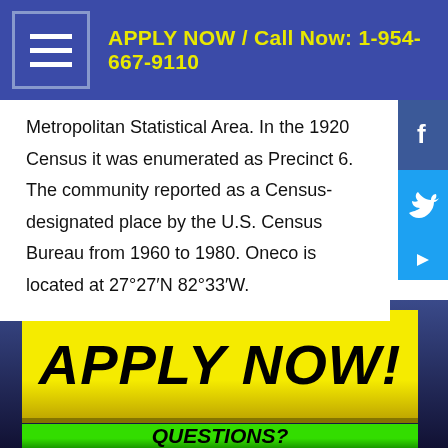APPLY NOW / Call Now: 1-954-667-9110
Metropolitan Statistical Area. In the 1920 Census it was enumerated as Precinct 6. The community reported as a Census-designated place by the U.S. Census Bureau from 1960 to 1980. Oneco is located at 27°27′N 82°33′W.
[Figure (screenshot): Yellow button with bold black italic text reading APPLY NOW!]
[Figure (screenshot): Green button with bold black italic text reading QUESTIONS?]